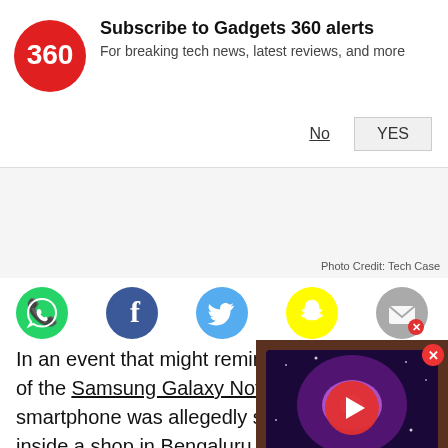[Figure (infographic): Gadgets 360 subscription notification bar with logo, title 'Subscribe to Gadgets 360 alerts', subtitle 'For breaking tech news, latest reviews, and more', and buttons 'No' and 'YES']
[Figure (infographic): Gray area with photo credit 'Photo Credit: Tech Case']
[Figure (infographic): Row of social media icons: WhatsApp (green), Facebook (dark blue), Twitter (light blue), Snapchat (yellow), Email (gray)]
In an event that might remind some of the Samsung Galaxy Note 7, a Xiaomi Mi smartphone was allegedly seen catching fire inside a shop in Bengaluru. While a seen trying to insert the SIM into a customer's phone, it caught fire after an explosion and burned the handset's entire body substantially.
[Figure (screenshot): Video overlay showing a TV with galaxy wallpaper, play button in center, close (X) button top right]